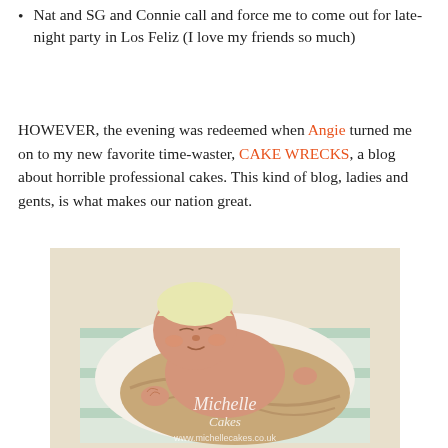Nat and SG and Connie call and force me to come out for late-night party in Los Feliz (I love my friends so much)
HOWEVER, the evening was redeemed when Angie turned me on to my new favorite time-waster, CAKE WRECKS, a blog about horrible professional cakes. This kind of blog, ladies and gents, is what makes our nation great.
[Figure (photo): A realistic baby-shaped cake wrapped in a tan/brown fondant blanket with a pale yellow hat, lying on a white and mint-striped surface. Watermark text reads 'Michelle Cakes' and 'www.michellecakes.co.uk'.]